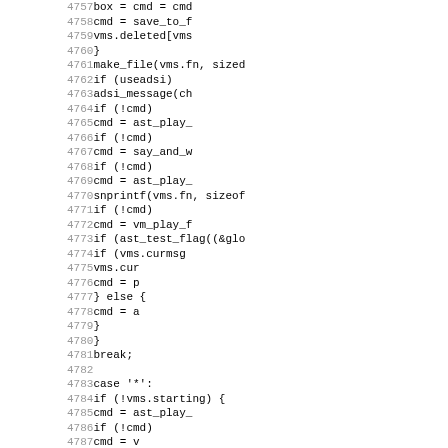Source code listing, lines 4757-4788+, C code for voicemail processing